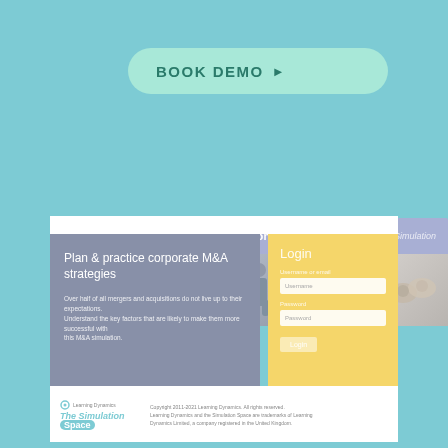[Figure (screenshot): Book Demo button with rounded pill shape on teal background]
[Figure (screenshot): Mergers & Acquisitions simulation website screenshot showing nav bar, hero image strip with business photos, content panel, and login form]
Learning Dynamics The Simulation Space | Copyright 2011-2021 Learning Dynamics. All rights reserved. Learning Dynamics and The Simulation Space are trademarks of Learning Dynamics Limited, a company registered in the United Kingdom.